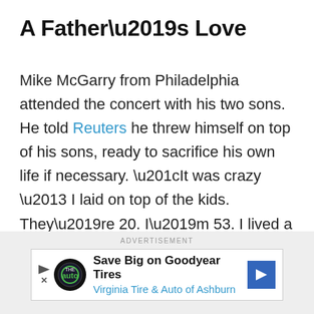A Father’s Love
Mike McGarry from Philadelphia attended the concert with his two sons. He told Reuters he threw himself on top of his sons, ready to sacrifice his own life if necessary. “It was crazy – I laid on top of the kids. They’re 20. I’m 53. I lived a good life,” he said. McGarry said he ended up with footprints on his back from people running from the scene.
ADVERTISEMENT
[Figure (other): Advertisement banner: Save Big on Goodyear Tires, Virginia Tire & Auto of Ashburn]